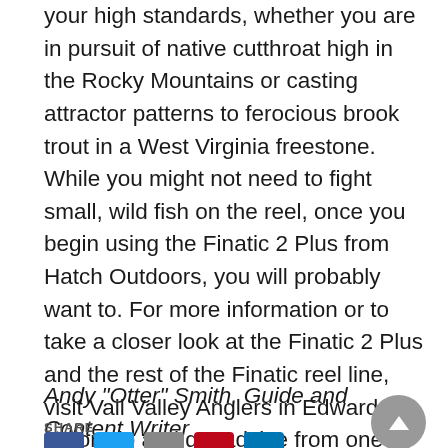your high standards, whether you are in pursuit of native cutthroat high in the Rocky Mountains or casting attractor patterns to ferocious brook trout in a West Virginia freestone. While you might not need to fight small, wild fish on the reel, once you begin using the Finatic 2 Plus from Hatch Outdoors, you will probably want to. For more information or to take a closer look at the Finatic 2 Plus and the rest of the Finatic reel line, visit Vail Valley Anglers in Edwards, Colorado and get advice from one of the experts in the fly shop.
Andy “Otter” Smith, Guide and Content Writer
SHARE